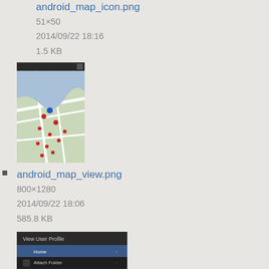android_map_icon.png (link, truncated at top)
51×50
2014/09/22 18:16
1.5 KB
[Figure (screenshot): Thumbnail of android_map_view.png showing a map with red markers on a city street view]
android_map_view.png
800×1280
2014/09/22 18:06
585.8 KB
[Figure (screenshot): Thumbnail of android_menu_options.png showing a dark Android menu with options including Home, Attach Folder, Group Items, Game Hub, Settings, Help, About]
android_menu_options.png
1197×1025
2014/10/08 18:05
202.7 KB
[Figure (screenshot): Bottom portion of another thumbnail, dark background, partially visible]